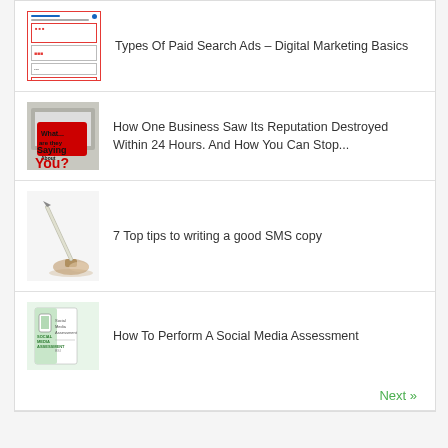Types Of Paid Search Ads – Digital Marketing Basics
How One Business Saw Its Reputation Destroyed Within 24 Hours. And How You Can Stop...
7 Top tips to writing a good SMS copy
How To Perform A Social Media Assessment
Next »